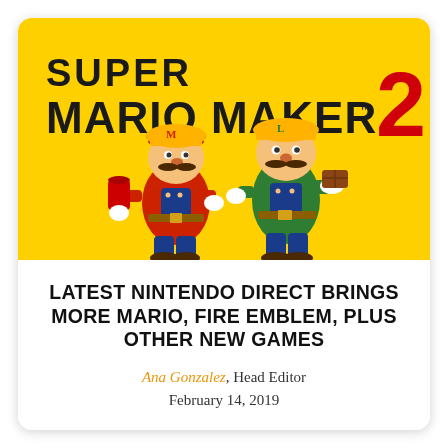[Figure (illustration): Super Mario Maker 2 promotional image on yellow background featuring Mario and Luigi in construction worker outfits. The logo reads SUPER MARIO MAKER 2 in bold black and red text.]
LATEST NINTENDO DIRECT BRINGS MORE MARIO, FIRE EMBLEM, PLUS OTHER NEW GAMES
Ana Gonzalez, Head Editor
February 14, 2019